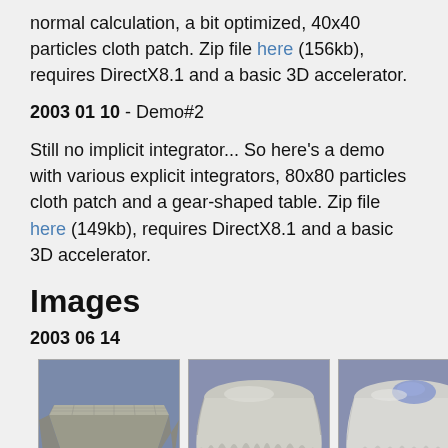normal calculation, a bit optimized, 40x40 particles cloth patch. Zip file here (156kb), requires DirectX8.1 and a basic 3D accelerator.
2003 01 10 - Demo#2
Still no implicit integrator... So here's a demo with various explicit integrators, 80x80 particles cloth patch and a gear-shaped table. Zip file here (149kb), requires DirectX8.1 and a basic 3D accelerator.
Images
2003 06 14
[Figure (photo): Three images of cloth simulation: left shows a cloth draped over a rectangular table with metallic sheen, center shows a round cloth-covered table with drooping edges, right shows another round cloth-covered table with a blue object on top.]